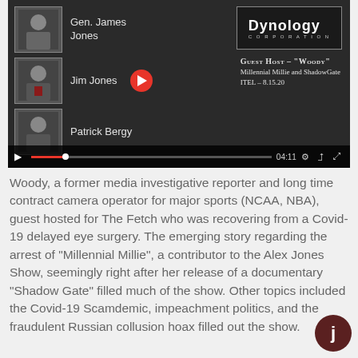[Figure (screenshot): Video player screenshot showing three people: Gen. James Jones, Jim Jones, and Patrick Bergy, with a Dynology Corporation logo, a red play button, and guest host info for 'Woody' from Millennial Millie and ShadowGate ITEL 8.15.20. Video controls show timestamp 04:11.]
Woody, a former media investigative reporter and long time contract camera operator for major sports (NCAA, NBA), guest hosted for The Fetch who was recovering from a Covid-19 delayed eye surgery.  The emerging story regarding the arrest of “Millennial Millie”, a contributor to the Alex Jones Show, seemingly right after her release of a documentary “Shadow Gate” filled much of the show.  Other topics included the Covid-19 Scamdemic, impeachment politics, and the fraudulent Russian collusion hoax filled out the show.